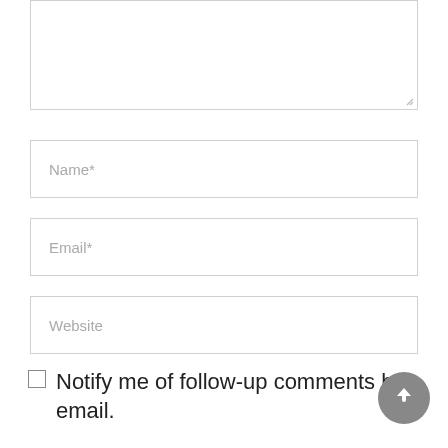[Figure (screenshot): A textarea input box (comment field) partially visible at the top of the page, with a resize handle at the bottom-right corner]
Name*
Email*
Website
Notify me of follow-up comments by email.
[Figure (other): A circular grey scroll-to-top button with an upward arrow icon in the bottom-right of the page]